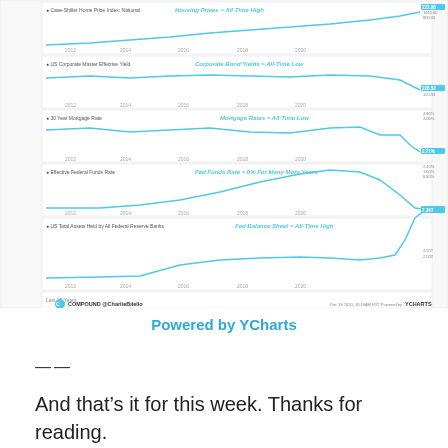[Figure (line-chart): A multi-panel line chart showing 5 economic indicators over the last 10 years (2012-2020): (1) Case-Shiller Home Price Index National - Housing Prices = All-Time High; (2) US Corporate Master Effective Yield - Corporate Bond Yields = All-Time Low; (3) 30 Year Mortgage Rate - Mortgage Rates = All-Time Low; (4) Effective Federal Funds Rate - Fed Funds Rate = 0% For Many More Years; (5) US Total Assets Held by All Federal Reserve Banks - Fed Balance Sheet = All-Time High. Powered by YCHARTS. Source: COMPOUND @CharlieBilello.]
Powered by YCharts
——
And that's it for this week. Thanks for reading.